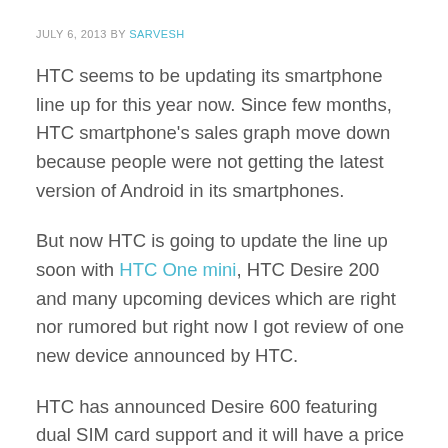JULY 6, 2013 BY SARVESH
HTC seems to be updating its smartphone line up for this year now. Since few months, HTC smartphone's sales graph move down because people were not getting the latest version of Android in its smartphones.
But now HTC is going to update the line up soon with HTC One mini, HTC Desire 200 and many upcoming devices which are right nor rumored but right now I got review of one new device announced by HTC.
HTC has announced Desire 600 featuring dual SIM card support and it will have a price tag of less than 20k INR. I got chance to get my